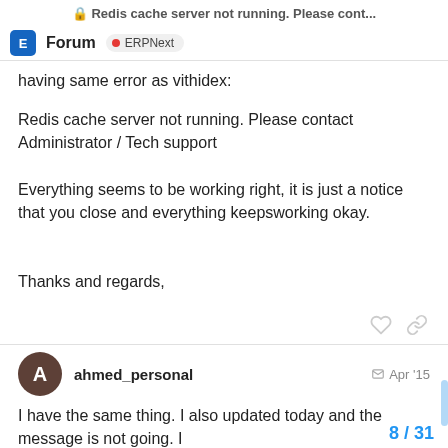Redis cache server not running. Please cont...
Forum  ERPNext
having same error as vithidex:
Redis cache server not running. Please contact Administrator / Tech support
Everything seems to be working right, it is just a notice that you close and everything keepsworking okay.
Thanks and regards,
ahmed_personal  Apr '15
I have the same thing. I also updated today and the message is not going. I think it has effect on the speed of the system
8 / 31